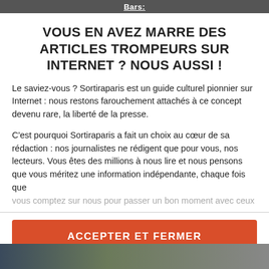Bars:
VOUS EN AVEZ MARRE DES ARTICLES TROMPEURS SUR INTERNET ? NOUS AUSSI !
Le saviez-vous ? Sortiraparis est un guide culturel pionnier sur Internet : nous restons farouchement attachés à ce concept devenu rare, la liberté de la presse.
C'est pourquoi Sortiraparis a fait un choix au cœur de sa rédaction : nos journalistes ne rédigent que pour vous, nos lecteurs. Vous êtes des millions à nous lire et nous pensons que vous méritez une information indépendante, chaque fois que vous comptez sur nous pour passer un bon moment avec ceux
ACCEPTER ET FERMER
SOUTENIR ET PAYER
[Figure (photo): Bottom strip showing a partial photograph, appears to be an outdoor scene with dark tones.]